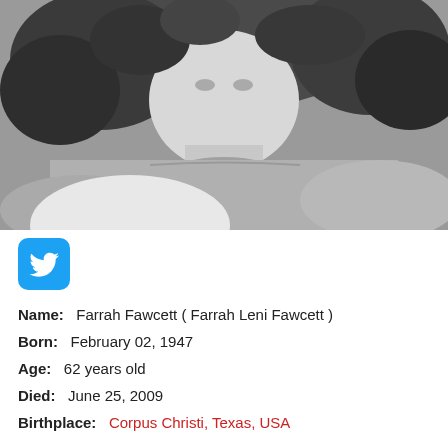[Figure (photo): Black and white photograph of Farrah Fawcett, close-up portrait showing her with curly hair wearing a grey sweatshirt]
[Figure (logo): Twitter bird logo icon in white on blue rounded square background]
Name:   Farrah Fawcett ( Farrah Leni Fawcett )
Born:   February 02, 1947
Age:   62 years old
Died:   June 25, 2009
Birthplace:   Corpus Christi, Texas, USA